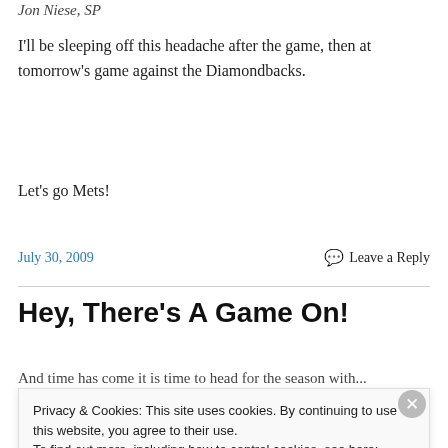Jon Niese, SP
I'll be sleeping off this headache after the game, then at tomorrow's game against the Diamondbacks.
Let's go Mets!
July 30, 2009    Leave a Reply
Hey, There's A Game On!
Privacy & Cookies: This site uses cookies. By continuing to use this website, you agree to their use.
To find out more, including how to control cookies, see here: Cookie Policy
Close and accept